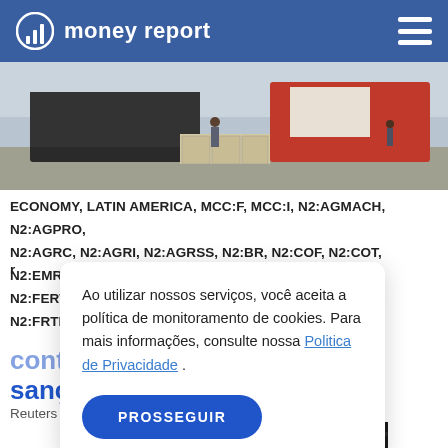money report
[Figure (photo): Trucks and cargo being loaded/unloaded at a logistics area, with workers and red and white transport vehicles visible.]
ECONOMY, LATIN AMERICA, MCC:F, MCC:I, N2:AGMACH, N2:AGPRO, N2:AGRC, N2:AGRI, N2:AGRSS, N2:BR, N2:COF, N2:COT, N2:EMRG, N2:FERT, N2:FIN, N2:FOODIN, N2:FOODWS, N2:FRGT, N2:FRTRCK,
Ao utilizar nossos serviços, você aceita a política de monitoramento de cookies. Para mais informações, consulte nossa Politica de Privacidade . PROSSEGUIR
contra tabela de frete após sanção de Temer
Reuters  9 de agosto de 2018
[Figure (photo): Dark partial image at the bottom of the page, appears to be another photo related to the article.]